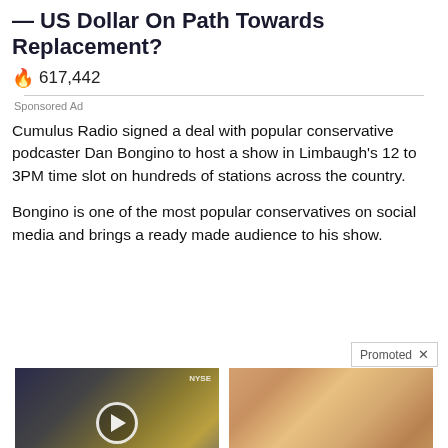— US Dollar On Path Towards Replacement?
617,442
Sponsored Ad
Cumulus Radio signed a deal with popular conservative podcaster Dan Bongino to host a show in Limbaugh's 12 to 3PM time slot on hundreds of stations across the country.
Bongino is one of the most popular conservatives on social media and brings a ready made audience to his show.
Promoted X
[Figure (photo): Video thumbnail showing a man in a suit against NYSE stock exchange background with a play button overlay]
Biden Probably Wants This Video Destroyed — US Dollar On Path Towards Replacement?
146,139
[Figure (photo): Close-up photo of fingertips/nails with yellowish discoloration]
How Your Body Warns You That Dementia Is Forming
24,731